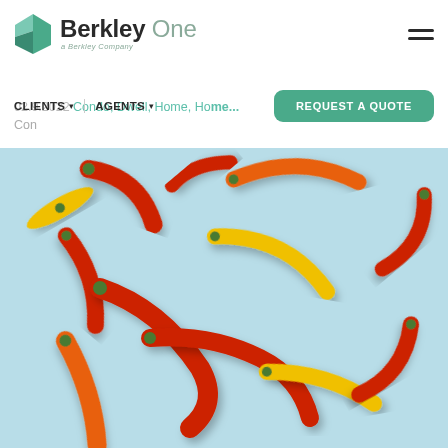[Figure (logo): Berkley One logo — teal geometric house/flag icon and wordmark 'Berkley One, a Berkley Company']
CLIENTS ▾  AGENTS ▾   REQUEST A QUOTE
02.9.2022  Condo, Dwell, Home, Ho...
Con...
[Figure (photo): Overhead photo on light blue background of scattered colorful chili peppers — red, orange, and yellow — arranged in a loose swirling pattern with shadows.]